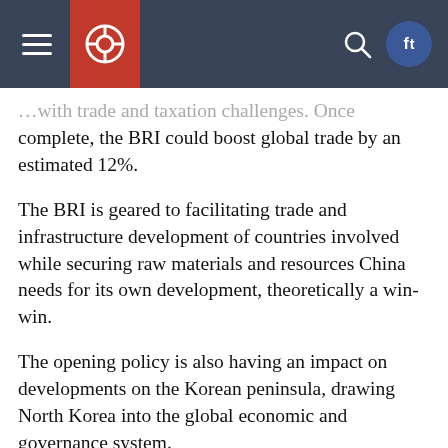[navigation bar with hamburger menu, logo, search icon, and Facebook icon]
…with trade and taxation challenges. Once complete, the BRI could boost global trade by an estimated 12%.
The BRI is geared to facilitating trade and infrastructure development of countries involved while securing raw materials and resources China needs for its own development, theoretically a win-win.
The opening policy is also having an impact on developments on the Korean peninsula, drawing North Korea into the global economic and governance system.
U.S. ruling circles are divided on foreign policy and trade. Trump's economic protectionism and nationalism is threatening to disrupt the global trading system. China is concerned whether…